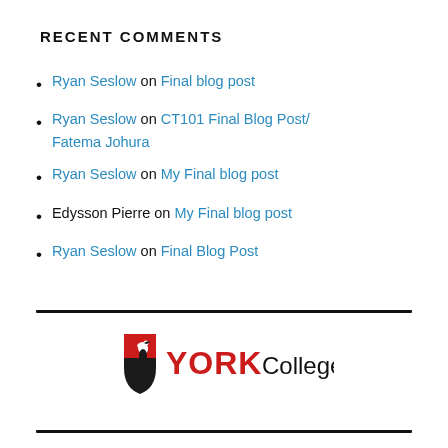RECENT COMMENTS
Ryan Seslow on Final blog post
Ryan Seslow on CT101 Final Blog Post/ Fatema Johura
Ryan Seslow on My Final blog post
Edysson Pierre on My Final blog post
Ryan Seslow on Final Blog Post
[Figure (logo): York College logo with shield icon and text 'YORK College']